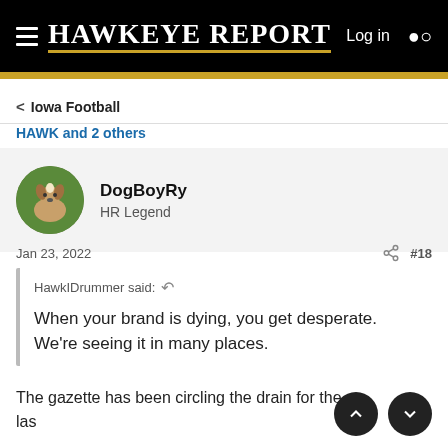HAWKEYE REPORT   Log in
Iowa Football
HAWK and 2 others
DogBoyRy
HR Legend
Jan 23, 2022   #18
HawkIDrummer said: When your brand is dying, you get desperate. We're seeing it in many places.
The gazette has been circling the drain for the last few years...